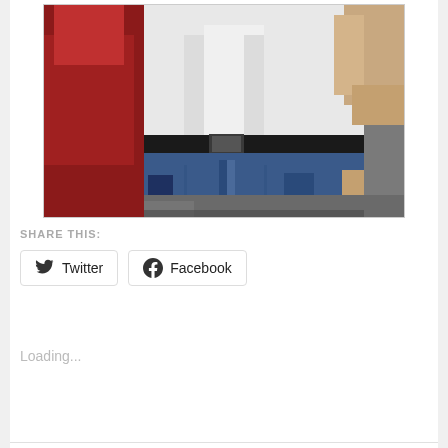[Figure (photo): A cropped photo showing a person wearing a white t-shirt, black belt, and blue denim jeans. On the left side, part of a red garment is visible. Background shows foliage and a stone or rocky surface.]
SHARE THIS:
Twitter
Facebook
Loading...